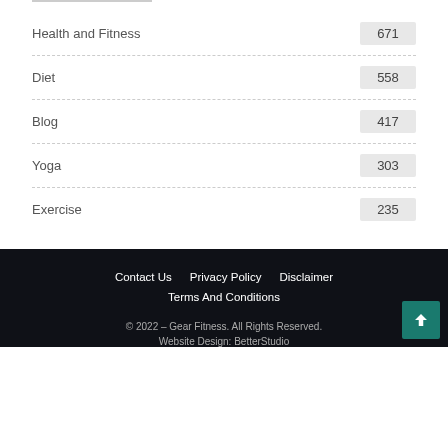Health and Fitness 671
Diet 558
Blog 417
Yoga 303
Exercise 235
Contact Us   Privacy Policy   Disclaimer   Terms And Conditions
© 2022 – Gear Fitness. All Rights Reserved.
Website Design: BetterStudio